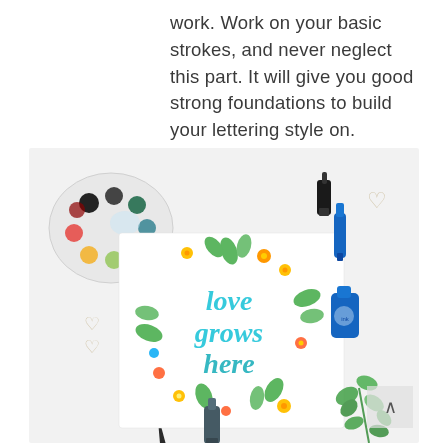work. Work on your basic strokes, and never neglect this part. It will give you good strong foundations to build your lettering style on.
[Figure (photo): Flat lay photo showing a watercolor paint palette with many colors, a calligraphy brush, ink bottles, wicker heart decorations, a green plant sprig, and a hand-lettered artwork on paper reading 'love grows here' surrounded by a floral wreath illustration.]